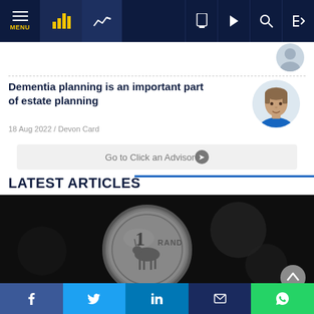MENU | Navigation bar with chart icons and utility icons
Dementia planning is an important part of estate planning
18 Aug 2022 / Devon Card
Go to Click an Advisor
LATEST ARTICLES
[Figure (photo): Close-up photograph of a South African 1 Rand coin on a dark background]